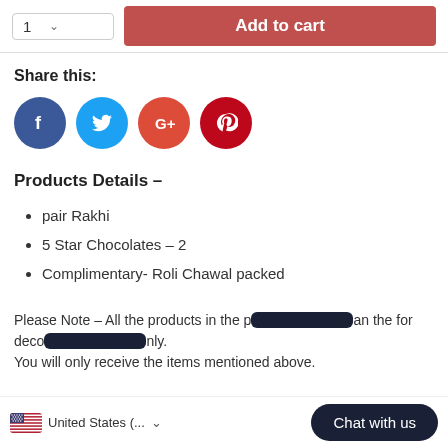[Figure (screenshot): Top bar with quantity selector showing '1' and a red 'Add to cart' button]
Share this:
[Figure (infographic): Four social media icons: Facebook (blue), Twitter (cyan), Google+ (red), Pinterest (dark red)]
Products Details –
pair Rakhi
5 Star Chocolates – 2
Complimentary- Roli Chawal packed
Please Note – All the products in the p[ackage are more] than th[e ones shown] for deco[ration purposes] only. You will only receive the items mentioned above.
[Figure (screenshot): Bottom bar with US flag, 'United States (... v)' country selector and dark 'Chat with us' button]